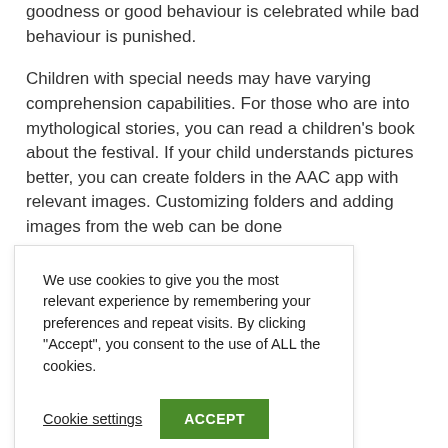goodness or good behaviour is celebrated while bad behaviour is punished.
Children with special needs may have varying comprehension capabilities. For those who are into mythological stories, you can read a children's book about the festival. If your child understands pictures better, you can create folders in the AAC app with relevant images. Customizing folders and adding images from the web can be done
We use cookies to give you the most relevant experience by remembering your preferences and repeat visits. By clicking "Accept", you consent to the use of ALL the cookies.
Cookie settings
ACCEPT